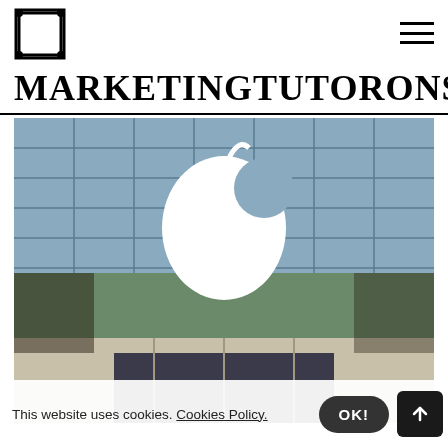MARKETINGTUTORONSPOT
[Figure (photo): Photo of an Apple Store exterior showing a large glass facade with the Apple logo (white Apple on glass panels), taken from outside looking in, showing the store interior through the glass.]
This website uses cookies. Cookies Policy.